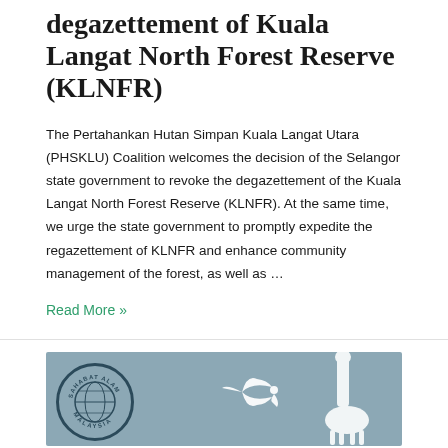degazettement of Kuala Langat North Forest Reserve (KLNFR)
The Pertahankan Hutan Simpan Kuala Langat Utara (PHSKLU) Coalition welcomes the decision of the Selangor state government to revoke the degazettement of the Kuala Langat North Forest Reserve (KLNFR). At the same time, we urge the state government to promptly expedite the regazettement of KLNFR and enhance community management of the forest, as well as …
Read More »
[Figure (photo): Image showing the Sahabat Alam Malaysia logo (circular badge with globe and text) on a grey-blue background, with white bird silhouettes (eagle and giraffe) on the right side.]